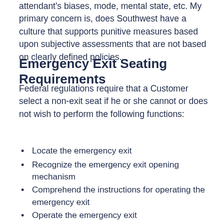attendant's biases, mode, mental state, etc. My primary concern is, does Southwest have a culture that supports punitive measures based upon subjective assessments that are not based on clearly defined policies.
Emergency Exit Seating Requirements
Federal regulations require that a Customer select a non-exit seat if he or she cannot or does not wish to perform the following functions:
Locate the emergency exit
Recognize the emergency exit opening mechanism
Comprehend the instructions for operating the emergency exit
Operate the emergency exit
Assess whether opening the emergency exit will increase the hazards to which passengers may be